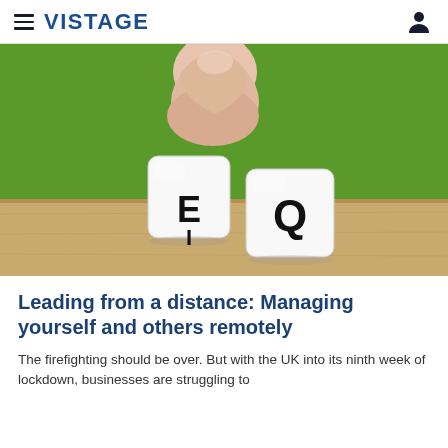VISTAGE
[Figure (photo): A hand placing a white dice showing letters E and I next to another white dice showing letter Q, on a wooden surface against a green background, illustrating EIQ concept.]
Leading from a distance: Managing yourself and others remotely
The firefighting should be over. But with the UK into its ninth week of lockdown, businesses are struggling to